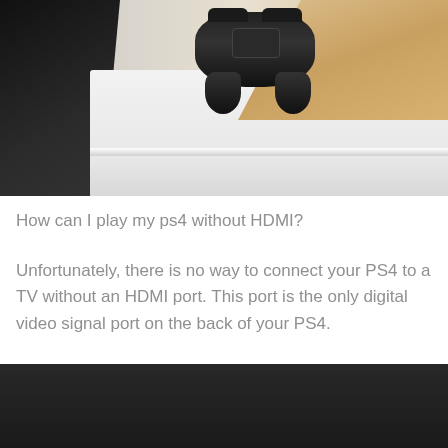[Figure (photo): Top-down photo of a PS4 gaming console and black DualShock 4 controller resting on a white shelf/surface, with wooden floor visible in background and dark TV screen on the left.]
How can I play my ps4 without HDMI?
Unfortunately, there is no way to connect your PS4 to a TV without an HDMI port. This port is the only digital video signal port on the back of your PS4.
[Figure (photo): Dark/black background photo, bottom of page, partially visible.]